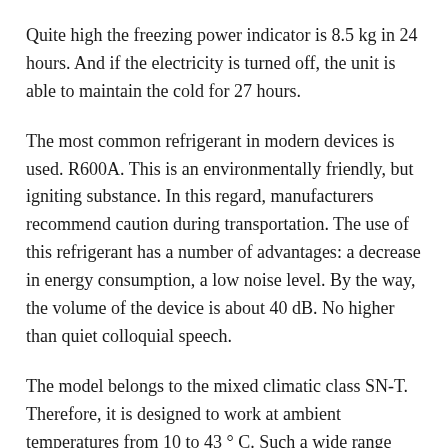Quite high the freezing power indicator is 8.5 kg in 24 hours. And if the electricity is turned off, the unit is able to maintain the cold for 27 hours.
The most common refrigerant in modern devices is used. R600A. This is an environmentally friendly, but igniting substance. In this regard, manufacturers recommend caution during transportation. The use of this refrigerant has a number of advantages: a decrease in energy consumption, a low noise level. By the way, the volume of the device is about 40 dB. No higher than quiet colloquial speech.
The model belongs to the mixed climatic class SN-T. Therefore, it is designed to work at ambient temperatures from 10 to 43 ° C. Such a wide range allows you to exploit it without fear in our latitudes. She will suit her conditions not only for it, you not only but also other...